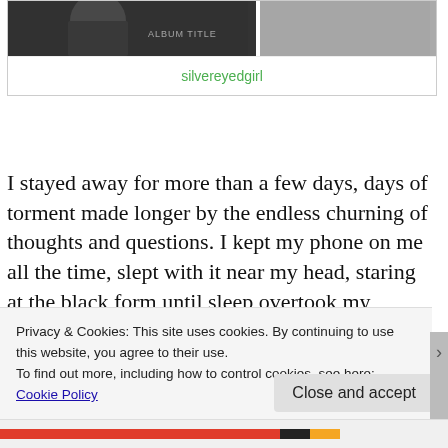[Figure (photo): Black and white photo of a person, partially visible, with overlaid text reading ALBUM TITLE or similar watermark]
silvereyedgirl
I stayed away for more than a few days, days of torment made longer by the endless churning of thoughts and questions. I kept my phone on me all the time, slept with it near my head, staring at the black form until sleep overtook my reluctant eyes and mind. Every day or two, my waiting was granted a teasing reprieve, her text would come through with the ring I had set for only her, electronic signals that love was alive in me, but was it love? I
Privacy & Cookies: This site uses cookies. By continuing to use this website, you agree to their use.
To find out more, including how to control cookies, see here: Cookie Policy